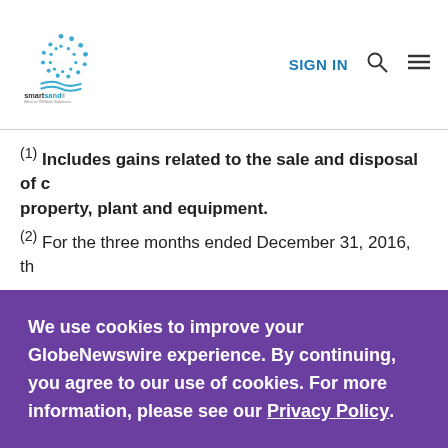Smart Sand — SIGN IN
(1) Includes gains related to the sale and disposal of certain property, plant and equipment.
(2) For the three months ended December 31, 2016, th…
We use cookies to improve your GlobeNewswire experience. By continuing, you agree to our use of cookies. For more information, please see our Privacy Policy.
ACCEPT